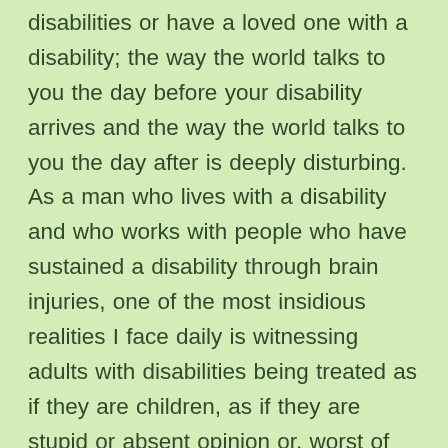disabilities or have a loved one with a disability; the way the world talks to you the day before your disability arrives and the way the world talks to you the day after is deeply disturbing. As a man who lives with a disability and who works with people who have sustained a disability through brain injuries, one of the most insidious realities I face daily is witnessing adults with disabilities being treated as if they are children, as if they are stupid or absent opinion or, worst of all, as if they are void of any value and rights. Some times I think those who inflict this treatment on others ought to be educated without judgment first. Then, if knowledge doesn't do the trick and their